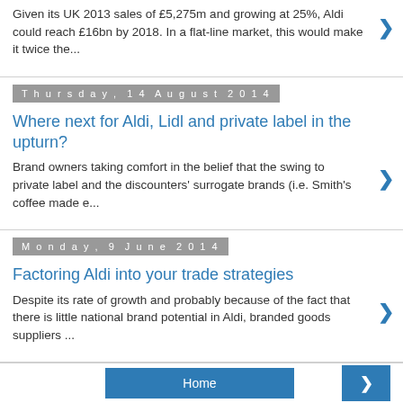Given its UK 2013 sales of £5,275m and growing at 25%, Aldi could reach £16bn by 2018. In a flat-line market, this would make it twice the...
Thursday, 14 August 2014
Where next for Aldi, Lidl and private label in the upturn?
Brand owners taking comfort in the belief that the swing to private label and the discounters' surrogate brands (i.e. Smith's coffee made e...
Monday, 9 June 2014
Factoring Aldi into your trade strategies
Despite its rate of growth and probably because of the fact that there is little national brand potential in Aldi, branded goods suppliers ...
Home  >